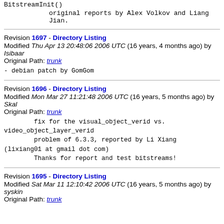BitstreamInit()
original reports by Alex Volkov and Liang Jian.
Revision 1697 - Directory Listing
Modified Thu Apr 13 20:48:06 2006 UTC (16 years, 4 months ago) by Isibaar
Original Path: trunk
- debian patch by GomGom
Revision 1696 - Directory Listing
Modified Mon Mar 27 11:21:48 2006 UTC (16 years, 5 months ago) by Skal
Original Path: trunk
fix for the visual_object_verid vs. video_object_layer_verid
        problem of 6.3.3, reported by Li Xiang (lixiang01 at gmail dot com)
        Thanks for report and test bitstreams!
Revision 1695 - Directory Listing
Modified Sat Mar 11 12:10:42 2006 UTC (16 years, 5 months ago) by syskin
Original Path: trunk